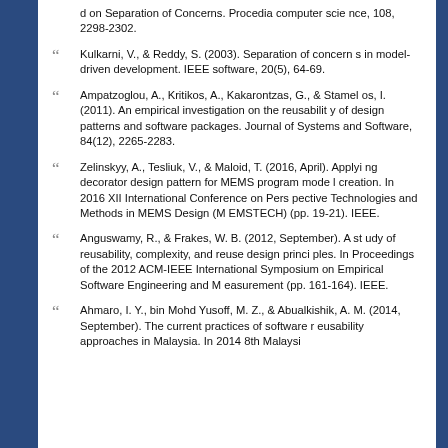d on Separation of Concerns. Procedia computer science, 108, 2298-2302.
Kulkarni, V., & Reddy, S. (2003). Separation of concerns in model-driven development. IEEE software, 20(5), 64-69.
Ampatzoglou, A., Kritikos, A., Kakarontzas, G., & Stamelos, I. (2011). An empirical investigation on the reusability of design patterns and software packages. Journal of Systems and Software, 84(12), 2265-2283.
Zelinskyy, A., Tesliuk, V., & Maloid, T. (2016, April). Applying decorator design pattern for MEMS program model creation. In 2016 XII International Conference on Perspective Technologies and Methods in MEMS Design (MEMSTECH) (pp. 19-21). IEEE.
Anguswamy, R., & Frakes, W. B. (2012, September). A study of reusability, complexity, and reuse design principles. In Proceedings of the 2012 ACM-IEEE International Symposium on Empirical Software Engineering and Measurement (pp. 161-164). IEEE.
Ahmaro, I. Y., bin Mohd Yusoff, M. Z., & Abualkishik, A. M. (2014, September). The current practices of software reusability approaches in Malaysia. In 2014 8th Malaysi